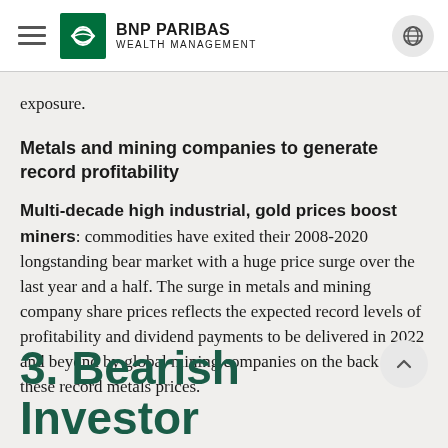BNP PARIBAS WEALTH MANAGEMENT
exposure.
Metals and mining companies to generate record profitability
Multi-decade high industrial, gold prices boost miners: commodities have exited their 2008-2020 longstanding bear market with a huge price surge over the last year and a half. The surge in metals and mining company share prices reflects the expected record levels of profitability and dividend payments to be delivered in 2022 and beyond by global mining companies on the back of these record metals prices.
3. Bearish Investor